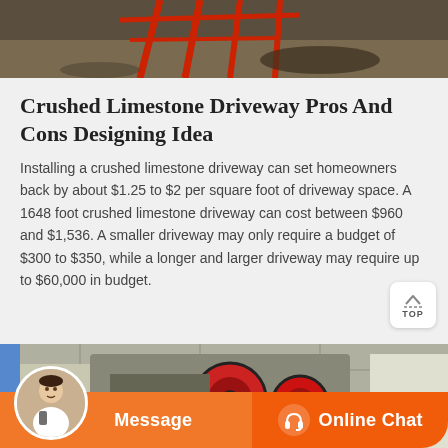[Figure (photo): Construction or outdoor scene with red metal frames and debris visible at top of page.]
Crushed Limestone Driveway Pros And Cons Designing Idea
Installing a crushed limestone driveway can set homeowners back by about $1.25 to $2 per square foot of driveway space. A 1648 foot crushed limestone driveway can cost between $960 and $1,536. A smaller driveway may only require a budget of $300 to $350, while a longer and larger driveway may require up to $60,000 in budget.
[Figure (photo): Industrial limestone crushing machine with red wheels and metal components in a construction setting.]
[Figure (other): Orange chat bar at bottom with Message button on left and Online Chat button with headset icon on right, plus customer service avatar.]